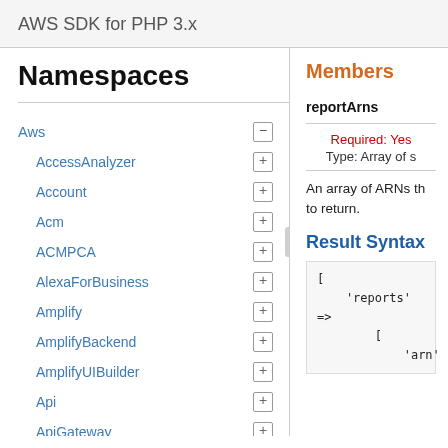AWS SDK for PHP 3.x
Namespaces
Aws
AccessAnalyzer
Account
Acm
ACMPCA
AlexaForBusiness
Amplify
AmplifyBackend
AmplifyUIBuilder
Api
ApiGateway
ApiGatewayManagementApi
Members
reportArns
Required: Yes
Type: Array of s
An array of ARNs th… to return.
Result Syntax
[
    'reports' =>
        [
            'arn'